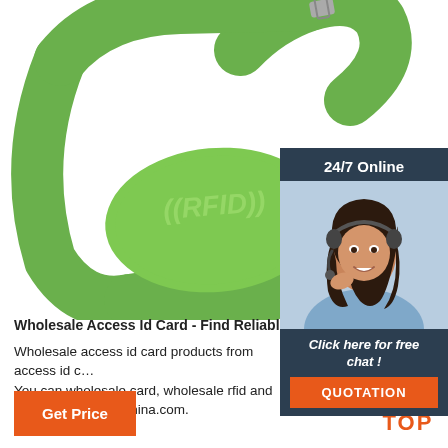[Figure (photo): Green RFID silicone wristband with '((RFID))' text embossed in lighter green on the oval face, photographed on white background]
[Figure (photo): 24/7 Online chat widget with a smiling woman wearing a headset, dark navy background, with 'Click here for free chat!' text and an orange QUOTATION button]
Wholesale Access Id Card - Find Reliable Access Id…
Wholesale access id card products from access id c… You can wholesale card, wholesale rfid and more on Made-in-China.com.
Get Price
[Figure (other): TOP navigation button with orange dots forming an arrow/hat shape above the word TOP in orange bold letters]